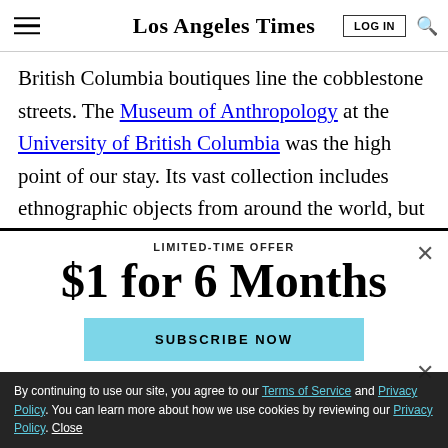Los Angeles Times
British Columbia boutiques line the cobblestone streets. The Museum of Anthropology at the University of British Columbia was the high point of our stay. Its vast collection includes ethnographic objects from around the world, but we focused on those of the indigenous
LIMITED-TIME OFFER
$1 for 6 Months
SUBSCRIBE NOW
By continuing to use our site, you agree to our Terms of Service and Privacy Policy. You can learn more about how we use cookies by reviewing our Privacy Policy. Close